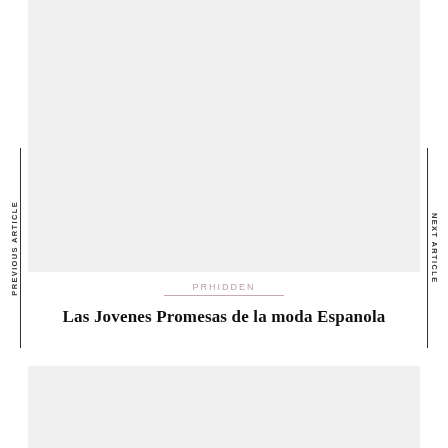[Figure (photo): Top image placeholder area with light gray background]
PREVIOUS ARTICLE
NEXT ARTICLE
PRHIDDEN
Las Jovenes Promesas de la moda Espanola
[Figure (photo): Bottom image placeholder area with light gray background]